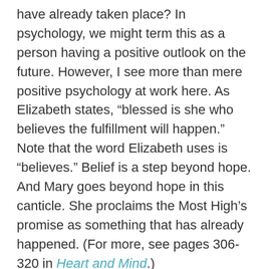have already taken place? In psychology, we might term this as a person having a positive outlook on the future. However, I see more than mere positive psychology at work here. As Elizabeth states, “blessed is she who believes the fulfillment will happen.” Note that the word Elizabeth uses is “believes.” Belief is a step beyond hope. And Mary goes beyond hope in this canticle. She proclaims the Most High’s promise as something that has already happened. (For more, see pages 306-320 in Heart and Mind.)
How may we take on the level of service needed in today’s world? As we come to the close of this Advent, Luke gives us great succor. Ponder Mary’s canticle. Pray all of our needs for mercy and justice